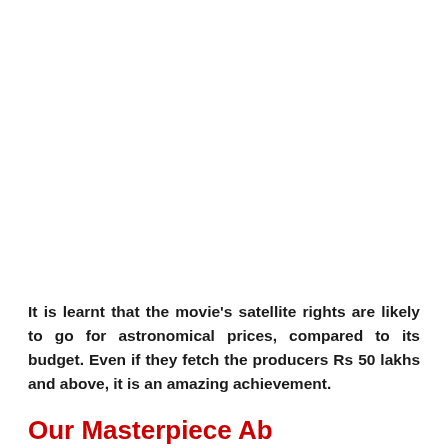It is learnt that the movie's satellite rights are likely to go for astronomical prices, compared to its budget. Even if they fetch the producers Rs 50 lakhs and above, it is an amazing achievement.
Our Masterpiece Ab...